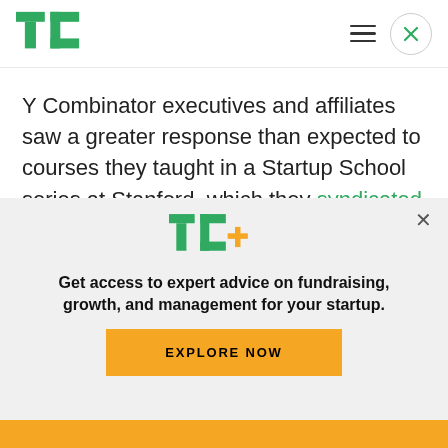TechCrunch logo and navigation
Y Combinator executives and affiliates saw a greater response than expected to courses they taught in a Startup School series at Stanford, which they syndicated online.
And under Altman's direction, Y Combinator
[Figure (screenshot): TechCrunch TC+ paywall overlay with logo, promotional text and Explore Now button]
Get access to expert advice on fundraising, growth, and management for your startup.
EXPLORE NOW